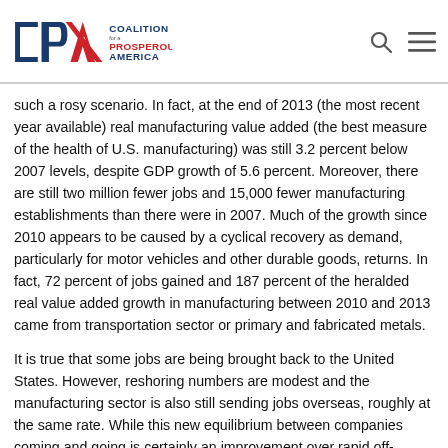Coalition for a Prosperous America
such a rosy scenario. In fact, at the end of 2013 (the most recent year available) real manufacturing value added (the best measure of the health of U.S. manufacturing) was still 3.2 percent below 2007 levels, despite GDP growth of 5.6 percent. Moreover, there are still two million fewer jobs and 15,000 fewer manufacturing establishments than there were in 2007. Much of the growth since 2010 appears to be caused by a cyclical recovery as demand, particularly for motor vehicles and other durable goods, returns. In fact, 72 percent of jobs gained and 187 percent of the heralded real value added growth in manufacturing between 2010 and 2013 came from transportation sector or primary and fabricated metals.
It is true that some jobs are being brought back to the United States. However, reshoring numbers are modest and the manufacturing sector is also still sending jobs overseas, roughly at the same rate. While this new equilibrium between companies coming and going is certainly an improvement over rapid off-shoring, it is hardly indicative of a renaissance.